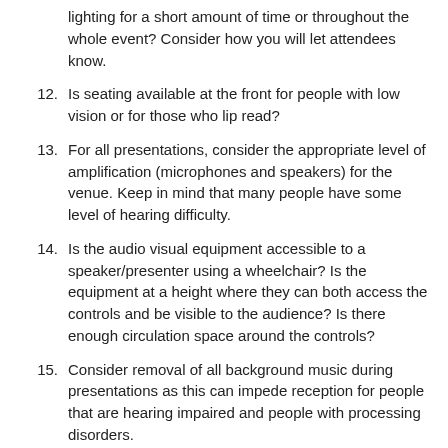lighting for a short amount of time or throughout the whole event? Consider how you will let attendees know.
12. Is seating available at the front for people with low vision or for those who lip read?
13. For all presentations, consider the appropriate level of amplification (microphones and speakers) for the venue. Keep in mind that many people have some level of hearing difficulty.
14. Is the audio visual equipment accessible to a speaker/presenter using a wheelchair? Is the equipment at a height where they can both access the controls and be visible to the audience? Is there enough circulation space around the controls?
15. Consider removal of all background music during presentations as this can impede reception for people that are hearing impaired and people with processing disorders.
16. Are you familiar with the University's Mobility Access Maps (page 3 of the corporate map)? Are you familiar